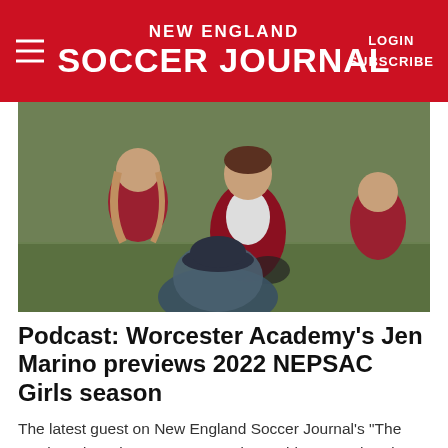NEW ENGLAND SOCCER JOURNAL | LOGIN | SUBSCRIBE
[Figure (photo): A female soccer coach in a red jacket sits and speaks with young female soccer players on a field during a team huddle or coaching session.]
Podcast: Worcester Academy's Jen Marino previews 2022 NEPSAC Girls season
The latest guest on New England Soccer Journal's "The Goal" podcast is Worcester Academy girls soccer head coach Jen Marino. Marino is entering